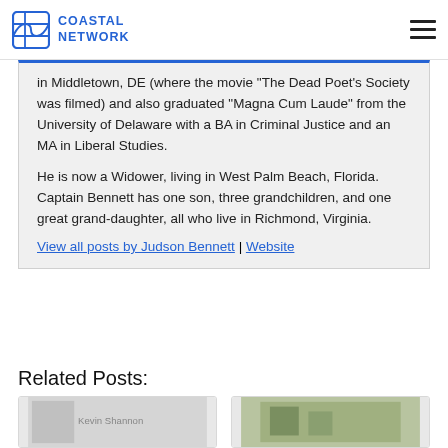COASTAL NETWORK
in Middletown, DE (where the movie “The Dead Poet’s Society was filmed) and also graduated “Magna Cum Laude” from the University of Delaware with a BA in Criminal Justice and an MA in Liberal Studies.
He is now a Widower, living in West Palm Beach, Florida. Captain Bennett has one son, three grandchildren, and one great grand-daughter, all who live in Richmond, Virginia.
View all posts by Judson Bennett | Website
Related Posts:
[Figure (photo): Kevin Shannon thumbnail image card]
[Figure (photo): Second related post thumbnail image card]